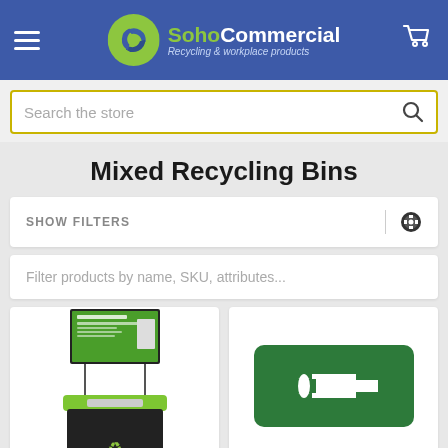SohoCommercial – Recycling & workplace products
Search the store
Mixed Recycling Bins
SHOW FILTERS
Filter products by name, SKU, attributes...
[Figure (photo): Recycling bin with green lid and a sign panel displaying recycling information]
[Figure (photo): Green recycling bin lid with mixed-use aperture cutout]